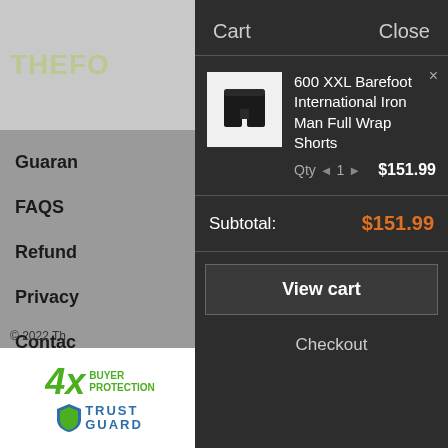[Figure (logo): Website logo showing partial text 'THEFO...' in stylized green/yellow font]
Guarar
FAQS
Refund
Privacy
Contac
© 2022 Th
[Figure (logo): 4x Buyer Protection Trust Guard badge with green 4x text and shield logo]
Cart
Close
[Figure (photo): Product image of black compression shorts on white background]
600 XXL Barefoot International Iron Man Full Wrap Shorts
Qty ◄ 1 ► $151.99
Subtotal: $151.99
View cart
Checkout